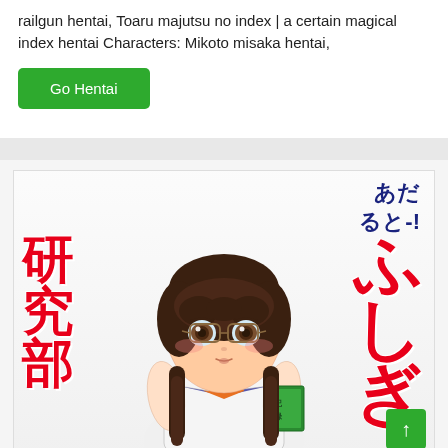railgun hentai, Toaru majutsu no index | a certain magical index hentai Characters: Mikoto misaka hentai,
[Figure (illustration): Anime manga-style illustration of a young girl with brown twin braids wearing glasses and a school uniform (white sailor-style top with blue trim and orange undershirt), holding a green book/notebook. Overlaid with large red Japanese kanji characters on the left side reading portions of text, dark blue Japanese text top-right reading 'あだると-!' and large pink/red stylized Japanese cursive on the right. A green scroll-to-top button is visible bottom-right.]